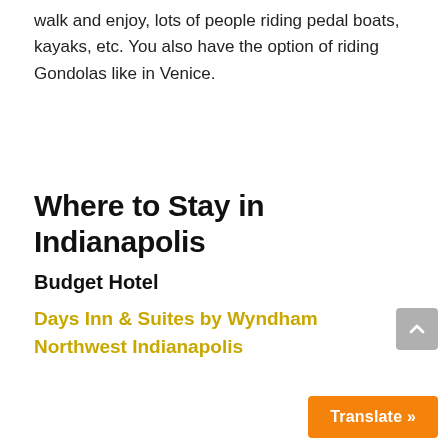walk and enjoy, lots of people riding pedal boats, kayaks, etc. You also have the option of riding Gondolas like in Venice.
Where to Stay in Indianapolis
Budget Hotel
Days Inn & Suites by Wyndham Northwest Indianapolis